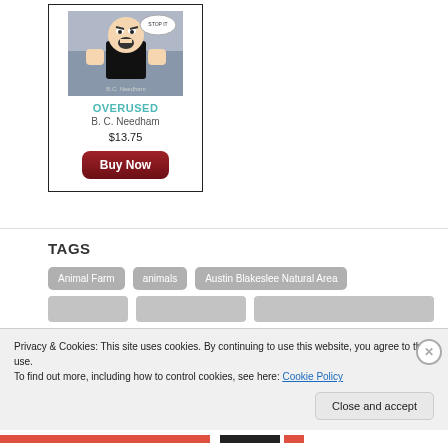[Figure (illustration): Book cover for 'OVERUSED' by B.C. Needham showing a cartoon angry figure with raised fists]
OVERUSED
B. C. Needham
$13.75
Buy Now
TAGS
Animal Farm
animals
Austin Blakeslee Natural Area
Privacy & Cookies: This site uses cookies. By continuing to use this website, you agree to their use.
To find out more, including how to control cookies, see here: Cookie Policy
Close and accept